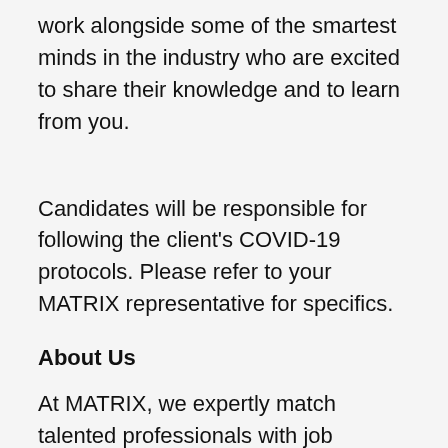work alongside some of the smartest minds in the industry who are excited to share their knowledge and to learn from you.
Candidates will be responsible for following the client's COVID-19 protocols. Please refer to your MATRIX representative for specifics.
About Us
At MATRIX, we expertly match talented professionals with job opportunities to elevate careers. Since 1983, we have placed thousands of professionals at innovative clients across every industry ranging from small startups to Fortune 50 companies. It's why we're consistently in the top 25 of all U.S. IT staffing firms and